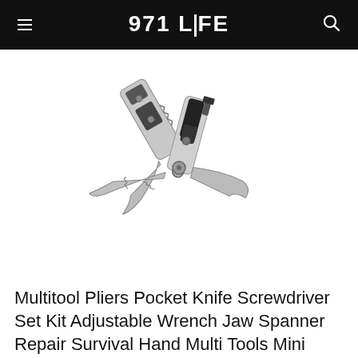971 LIFE
[Figure (photo): A multi-tool pliers/wrench/screwdriver set product photo on white background, showing open pliers jaws and multiple tool components in stainless steel and black finish]
Multitool Pliers Pocket Knife Screwdriver Set Kit Adjustable Wrench Jaw Spanner Repair Survival Hand Multi Tools Mini